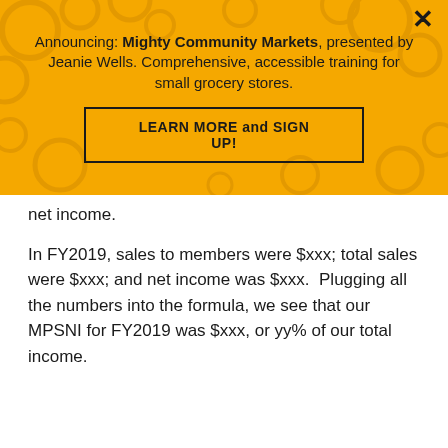Announcing: Mighty Community Markets, presented by Jeanie Wells. Comprehensive, accessible training for small grocery stores.
LEARN MORE and SIGN UP!
net income.
In FY2019, sales to members were $xxx; total sales were $xxx; and net income was $xxx.  Plugging all the numbers into the formula, we see that our MPSNI for FY2019 was $xxx, or yy% of our total income.